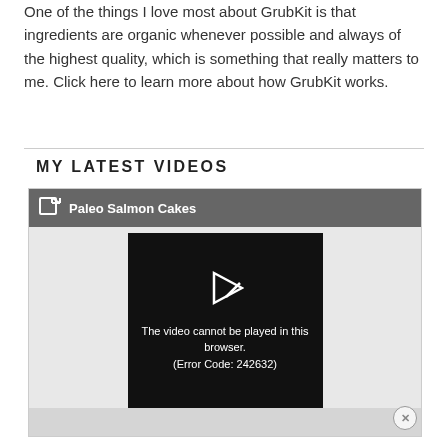One of the things I love most about GrubKit is that ingredients are organic whenever possible and always of the highest quality, which is something that really matters to me. Click here to learn more about how GrubKit works.
MY LATEST VIDEOS
[Figure (screenshot): Video player widget with dark header showing 'Paleo Salmon Cakes' title and an embedded video player showing error message: 'The video cannot be played in this browser. (Error Code: 242632)']